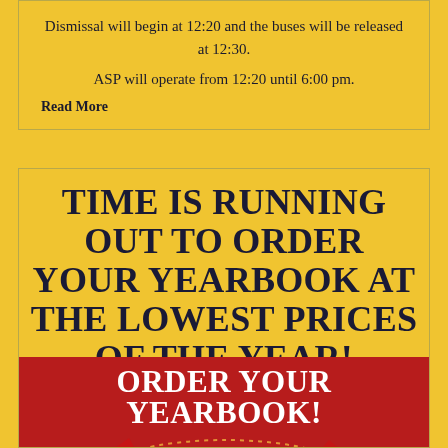Dismissal will begin at 12:20 and the buses will be released at 12:30.

ASP will operate from 12:20 until 6:00 pm.
Read More
TIME IS RUNNING OUT TO ORDER YOUR YEARBOOK AT THE LOWEST PRICES OF THE YEAR!
Prices expire August 26!!
Order now at: https://jostensyearbooks.com/?REF=A09859741
[Figure (other): Red banner with white bold text reading ORDER YOUR YEARBOOK! with decorative graphic elements below]